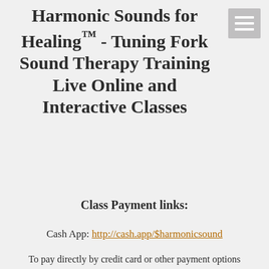Harmonic Sounds for Healing™ - Tuning Fork Sound Therapy Training Live Online and Interactive Classes
Class Payment links:
Cash App: http://cash.app/$harmonicsound
To pay directly by credit card or other payment options